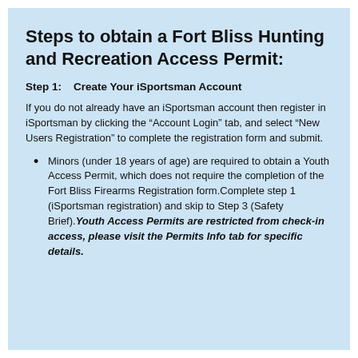Steps to obtain a Fort Bliss Hunting and Recreation Access Permit:
Step 1:   Create Your iSportsman Account
If you do not already have an iSportsman account then register in iSportsman by clicking the “Account Login” tab, and select “New Users Registration” to complete the registration form and submit.
Minors (under 18 years of age) are required to obtain a Youth Access Permit, which does not require the completion of the Fort Bliss Firearms Registration form.Complete step 1 (iSportsman registration) and skip to Step 3 (Safety Brief).Youth Access Permits are restricted from check-in access, please visit the Permits Info tab for specific details.